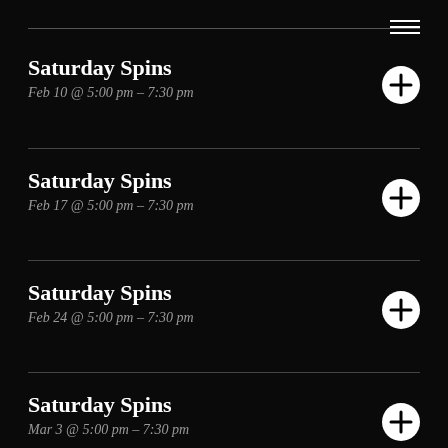Saturday Spins
Feb 10 @ 5:00 pm – 7:30 pm
Saturday Spins
Feb 17 @ 5:00 pm – 7:30 pm
Saturday Spins
Feb 24 @ 5:00 pm – 7:30 pm
Saturday Spins
Mar 3 @ 5:00 pm – 7:30 pm